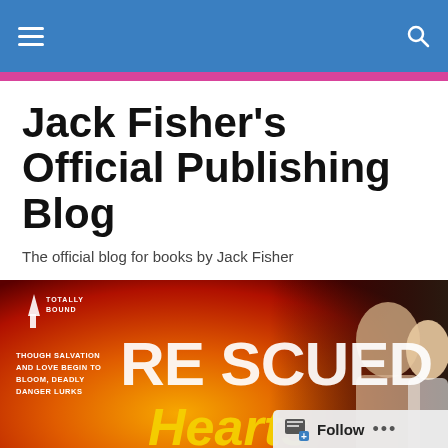Navigation bar with hamburger menu and search icon
Jack Fisher's Official Publishing Blog
The official blog for books by Jack Fisher
[Figure (illustration): Book banner for 'Rescued Hearts' by Jack Fisher, published by Totally Bound. Shows a man and woman on a fiery orange background with the tagline 'Though salvation and love begin to bloom, deadly danger lurks'. Author name JACK FISHER at the bottom.]
A Brief Message After One Of The Busiest Weeks Of My...
Follow ...